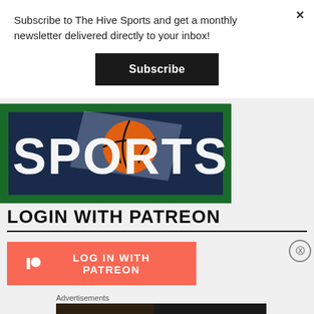Subscribe to The Hive Sports and get a monthly newsletter delivered directly to your inbox!
Subscribe
[Figure (logo): The Hive Sports logo with basketball graphic on navy/green background with large text reading SPORTS]
LOGIN WITH PATREON
LOG IN WITH PATREON
Advertisements
[Figure (photo): Seamless food delivery advertisement showing pizza with 'seamless' branding and 'ORDER NOW' call to action]